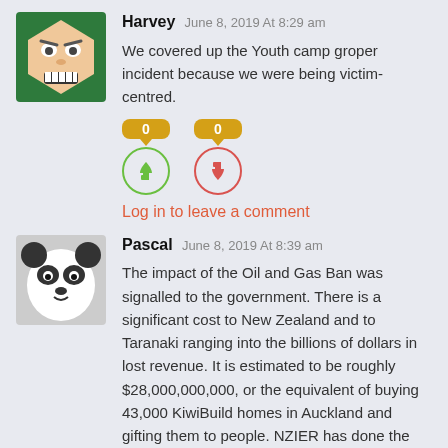[Figure (illustration): Avatar of Harvey - cartoon troll face illustration with green background]
Harvey June 8, 2019 At 8:29 am
We covered up the Youth camp groper incident because we were being victim-centred.
[Figure (other): Vote buttons: thumbs up with score 0, thumbs down with score 0]
Log in to leave a comment
[Figure (photo): Avatar of Pascal - photo of a giant panda face]
Pascal June 8, 2019 At 8:39 am
The impact of the Oil and Gas Ban was signalled to the government. There is a significant cost to New Zealand and to Taranaki ranging into the billions of dollars in lost revenue. It is estimated to be roughly $28,000,000,000, or the equivalent of buying 43,000 KiwiBuild homes in Auckland and gifting them to people. NZIER has done the research and have even factored in changes to our